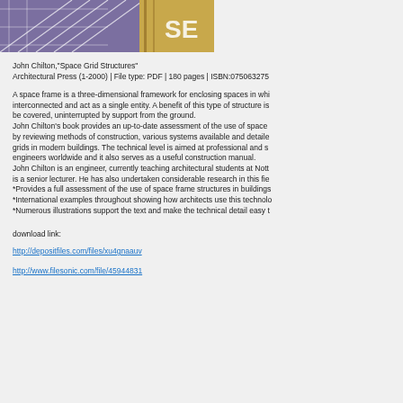[Figure (photo): Book cover image for Space Grid Structures showing architectural grid pattern in purple/gold tones with SE letters visible]
John Chilton,"Space Grid Structures"
Architectural Press (1-2000) | File type: PDF | 180 pages | ISBN:075063275
A space frame is a three-dimensional framework for enclosing spaces in which all members are interconnected and act as a single entity. A benefit of this type of structure is be covered, uninterrupted by support from the ground.
John Chilton's book provides an up-to-date assessment of the use of space by reviewing methods of construction, various systems available and detaile grids in modern buildings. The technical level is aimed at professional and s engineers worldwide and it also serves as a useful construction manual.
John Chilton is an engineer, currently teaching architectural students at Nott is a senior lecturer. He has also undertaken considerable research in this fie
*Provides a full assessment of the use of space frame structures in buildings
*International examples throughout showing how architects use this technolo
*Numerous illustrations support the text and make the technical detail easy t
download link:
http://depositfiles.com/files/xu4gnaauv
http://www.filesonic.com/file/45944831